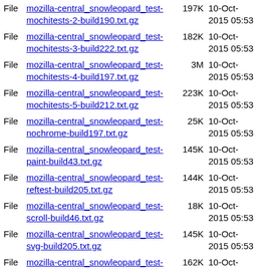File  mozilla-central_snowleopard_test-mochitests-2-build190.txt.gz  197K  10-Oct-2015 05:53
File  mozilla-central_snowleopard_test-mochitests-3-build222.txt.gz  182K  10-Oct-2015 05:53
File  mozilla-central_snowleopard_test-mochitests-4-build197.txt.gz  3M  10-Oct-2015 05:53
File  mozilla-central_snowleopard_test-mochitests-5-build212.txt.gz  223K  10-Oct-2015 05:53
File  mozilla-central_snowleopard_test-nochrome-build197.txt.gz  25K  10-Oct-2015 05:53
File  mozilla-central_snowleopard_test-paint-build43.txt.gz  145K  10-Oct-2015 05:53
File  mozilla-central_snowleopard_test-reftest-build205.txt.gz  144K  10-Oct-2015 05:53
File  mozilla-central_snowleopard_test-scroll-build46.txt.gz  18K  10-Oct-2015 05:53
File  mozilla-central_snowleopard_test-svg-build205.txt.gz  145K  10-Oct-2015 05:53
File  mozilla-central_snowleopard_test-tp4-build199.txt.gz  162K  10-Oct-2015 05:53
File  mozilla-central_snowleopard_test-xpcshell-build218.txt.gz  39K  10-Oct-2015 05:53
File  mozilla-central_win7_test-chrome-build...  39K  10-Oct-